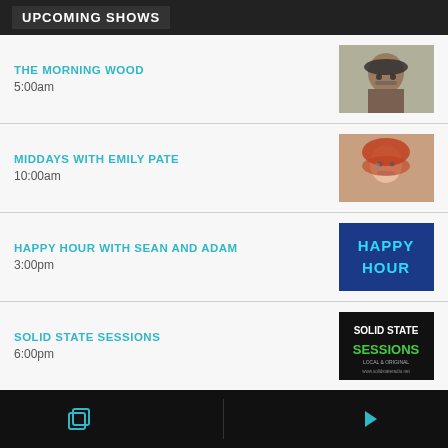UPCOMING SHOWS
THE MORNING WOOD
5:00am
MIDDAYS WITH EMILY PATE
10:00am
HAPPY HOUR WITH SEAN AND ADAM
3:00pm
SOLID STATE SESSIONS
6:00pm
FEAR NO MUSIC
7:00pm
THE NIGHT SHOW WITH ANTHONY LEE
9:00pm
Navigation bar with icons